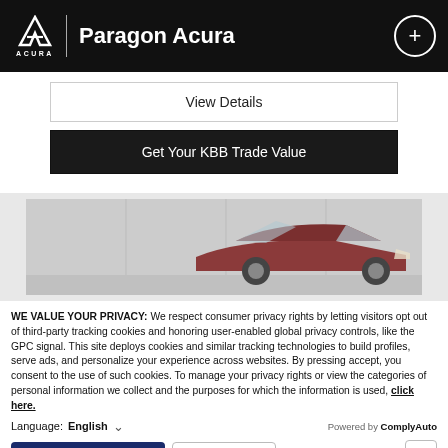Paragon Acura
View Details
Get Your KBB Trade Value
[Figure (photo): Partial view of a red/maroon Acura vehicle from the side, shown in a dealership or showroom setting with a white/grey background.]
WE VALUE YOUR PRIVACY: We respect consumer privacy rights by letting visitors opt out of third-party tracking cookies and honoring user-enabled global privacy controls, like the GPC signal. This site deploys cookies and similar tracking technologies to build profiles, serve ads, and personalize your experience across websites. By pressing accept, you consent to the use of such cookies. To manage your privacy rights or view the categories of personal information we collect and the purposes for which the information is used, click here.
Language: English  Powered by ComplyAuto
Accept and Continue → Privacy Policy ×